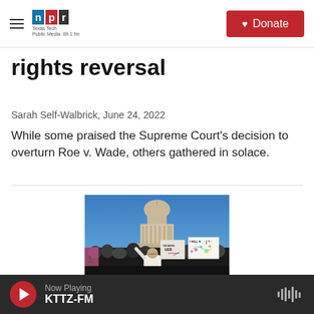NPR — Texas Tech Public Media 89.1 fm | Donate
rights reversal
Sarah Self-Walbrick,  June 24, 2022
While some praised the Supreme Court's decision to overturn Roe v. Wade, others gathered in solace.
[Figure (photo): Protesters outside the Texas State Capitol building holding signs including 'I'M WITH HER' and 'I WILL NOT:' with a floral design, demonstrating in response to the Supreme Court's decision to overturn Roe v. Wade.]
Now Playing KTTZ-FM